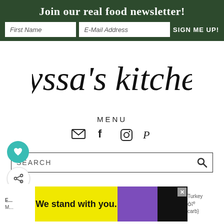Join our real food newsletter!
First Name | E-Mail Address | SIGN ME UP!
[Figure (logo): nyssa's kitchen handwritten script logo]
MENU
[Figure (infographic): Social icons: email, facebook, instagram, pinterest]
SEARCH
[Figure (infographic): Floating action buttons: teal heart button and white share button]
[Figure (infographic): Advertisement banner: We stand with you.]
Turkey M... carb}